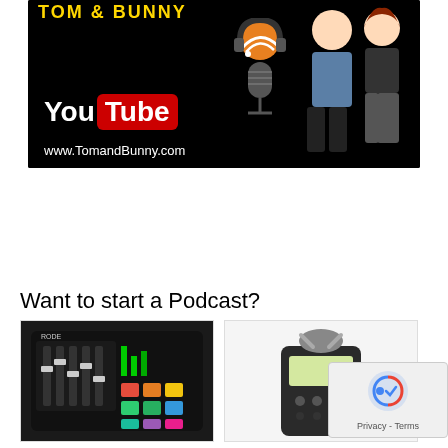[Figure (illustration): Banner image with black background showing YouTube logo, podcast microphone with RSS icon, cartoon characters of a man and woman, and URL www.TomandBunny.com]
Want to start a Podcast?
[Figure (photo): Photo of a Rode audio mixer/controller with colorful pads and faders]
[Figure (photo): Photo of a Zoom H6 portable audio recorder]